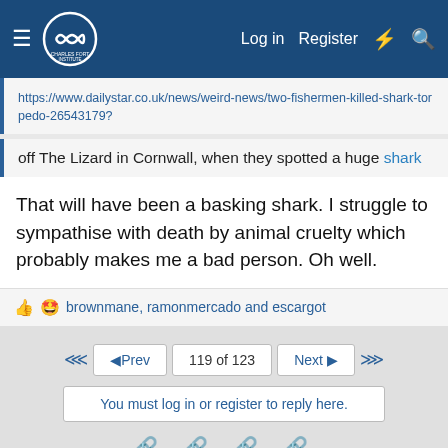Charles Fort Institute — Log in | Register
https://www.dailystar.co.uk/news/weird-news/two-fishermen-killed-shark-torpedo-26543179?
off The Lizard in Cornwall, when they spotted a huge shark
That will have been a basking shark. I struggle to sympathise with death by animal cruelty which probably makes me a bad person. Oh well.
brownmane, ramonmercado and escargot
◄◄  ◄Prev  119 of 123  Next►  ►►
You must log in or register to reply here.
This site uses cookies to help personalise content, tailor your experience and to keep you logged in if you register.
By continuing to use this site, you are consenting to our use of cookies.
✓ Accept   Learn more...